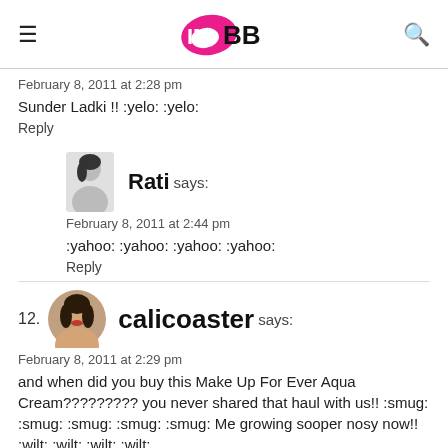IMBB
February 8, 2011 at 2:28 pm
Sunder Ladki !! :yelo: :yelo:
Reply
Rati says:
February 8, 2011 at 2:44 pm
:yahoo: :yahoo: :yahoo: :yahoo:
Reply
12. calicoaster says:
February 8, 2011 at 2:29 pm
and when did you buy this Make Up For Ever Aqua Cream????????? you never shared that haul with us!! :smug: :smug: :smug: :smug: :smug: Me growing sooper nosy now!! :wilt: :wilt: :wilt: :wilt: